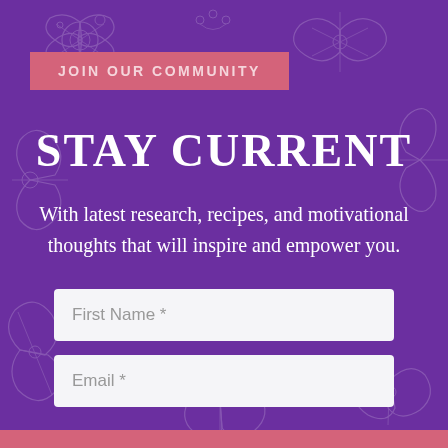JOIN OUR COMMUNITY
STAY CURRENT
With latest research, recipes, and motivational thoughts that will inspire and empower you.
First Name *
Email *